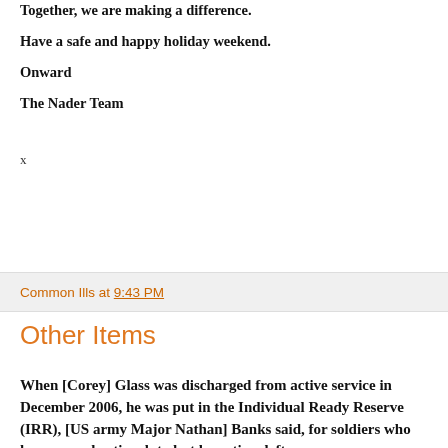controlled McCain and Obama.
Together, we are making a difference.
Have a safe and happy holiday weekend.
Onward
The Nader Team
x
Common Ills at 9:43 PM
Other Items
When [Corey] Glass was discharged from active service in December 2006, he was put in the Individual Ready Reserve (IRR), [US army Major Nathan] Banks said, for soldiers who have served active duty but have time left